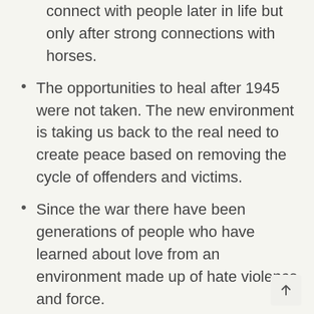connect with people later in life but only after strong connections with horses.
The opportunities to heal after 1945 were not taken. The new environment is taking us back to the real need to create peace based on removing the cycle of offenders and victims.
Since the war there have been generations of people who have learned about love from an environment made up of hate violence and force.